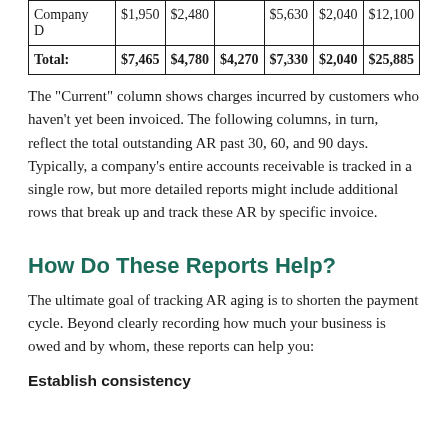| Company D | $1,950 | $2,480 |  | $5,630 | $2,040 | $12,100 |
| Total: | $7,465 | $4,780 | $4,270 | $7,330 | $2,040 | $25,885 |
The "Current" column shows charges incurred by customers who haven't yet been invoiced. The following columns, in turn, reflect the total outstanding AR past 30, 60, and 90 days. Typically, a company's entire accounts receivable is tracked in a single row, but more detailed reports might include additional rows that break up and track these AR by specific invoice.
How Do These Reports Help?
The ultimate goal of tracking AR aging is to shorten the payment cycle. Beyond clearly recording how much your business is owed and by whom, these reports can help you:
Establish consistency